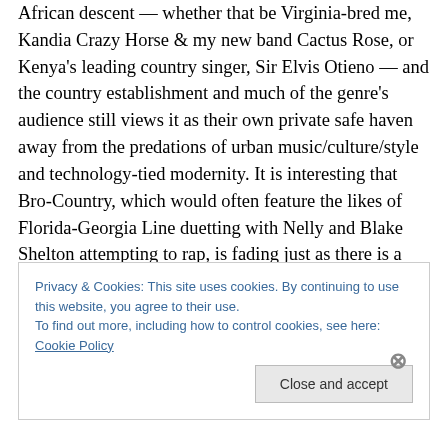African descent — whether that be Virginia-bred me, Kandia Crazy Horse & my new band Cactus Rose, or Kenya's leading country singer, Sir Elvis Otieno — and the country establishment and much of the genre's audience still views it as their own private safe haven away from the predations of urban music/culture/style and technology-tied modernity. It is interesting that Bro-Country, which would often feature the likes of Florida-Georgia Line duetting with Nelly and Blake Shelton attempting to rap, is fading just as there is a rise and music industry push behind a range of country and Americana acts that claim
Privacy & Cookies: This site uses cookies. By continuing to use this website, you agree to their use.
To find out more, including how to control cookies, see here: Cookie Policy
Close and accept